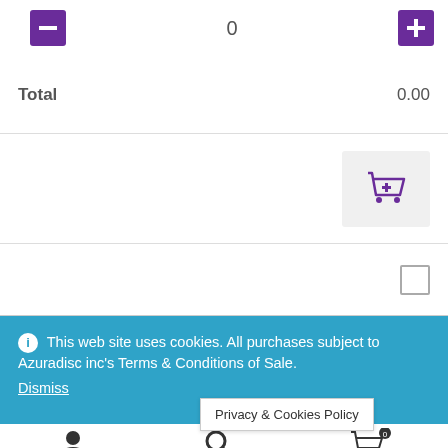- 0 +
Total 0.00
[Figure (other): Purple add-to-cart shopping cart button on light gray background]
[Figure (other): Unchecked checkbox]
This web site uses cookies. All purchases subject to Azuradisc inc's Terms & Conditions of Sale. Dismiss
Privacy & Cookies Policy